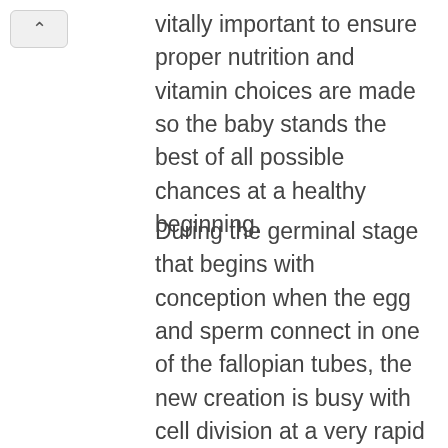vitally important to ensure proper nutrition and vitamin choices are made so the baby stands the best of all possible chances at a healthy beginning.
During the germinal stage that begins with conception when the egg and sperm connect in one of the fallopian tubes, the new creation is busy with cell division at a very rapid rate. The cells become a blastocyst which is made up of three layers - the ectoderm, which will become the skin and nervous system, the endoderm, which will become the digestive and respiratory systems,